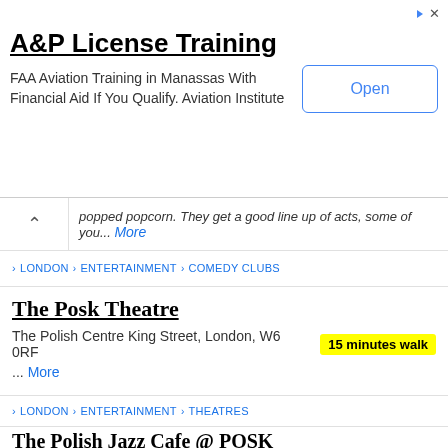[Figure (screenshot): Ad banner for A&P License Training with Open button]
popped popcorn. They get a good line up of acts, some of you... More
LONDON > ENTERTAINMENT > COMEDY CLUBS
The Posk Theatre
The Polish Centre King Street, London, W6 0RF  15 minutes walk
... More
LONDON > ENTERTAINMENT > THEATRES
The Polish Jazz Cafe @ POSK
238-246 King Street, London, W6 0RF  15 minutes walk
The first (only?) Polish jazz venue in London, the Jazz Cafe POSK in Hammersmith puts on a lively programme of Polish jazz music. Those unfamiliar... More